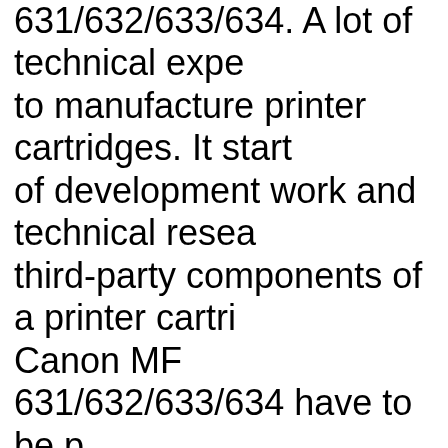631/632/633/634. A lot of technical expe to manufacture printer cartridges. It start of development work and technical resea third-party components of a printer cartri Canon MF 631/632/633/634 have to be p other manufacturers. These components subjected to a large number of tests befo development department approves them in our toner cartridges. We also place pa quality demands on the toner powder us cartridges, which is filled into the printer the Canon MF 631/632/633/634. Only to which enables brilliant prints as the origi used by us in the toner cartridges for the 631/632/633/634. Regular tests of custo